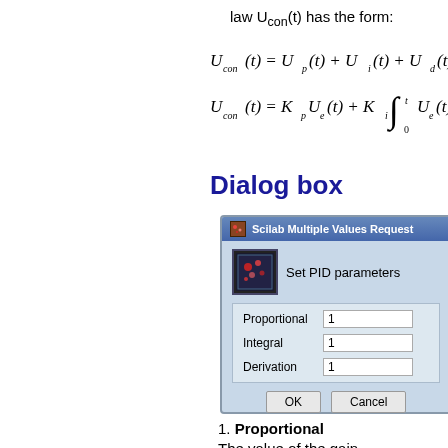law Ucon(t) has the form:
Dialog box
[Figure (screenshot): Scilab Multiple Values Request dialog box for setting PID parameters with fields: Proportional=1, Integral=1, Derivation=1, and OK/Cancel buttons.]
1. Proportional
The value of the gain